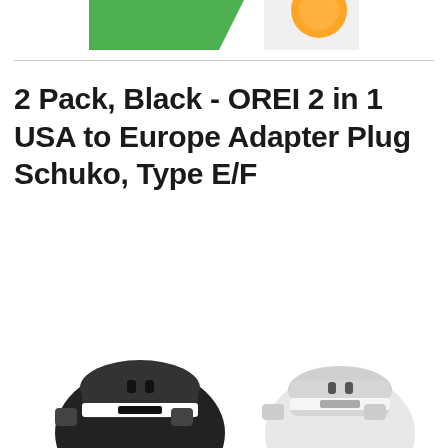[Figure (photo): Partial view of a green and white product logo/image at the top of the page, cropped]
2 Pack, Black - OREI 2 in 1 USA to Europe Adapter Plug Schuko, Type E/F
[Figure (photo): Two travel plug adapters shown at the bottom: a black one on the left and a white/silver one on the right, both are OREI USA to Europe adapter plugs, partially cropped]